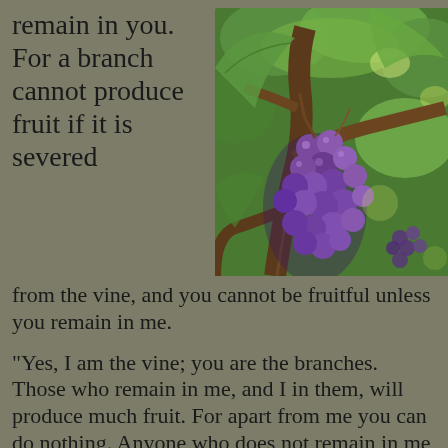remain in you. For a branch cannot produce fruit if it is severed from the vine, and you cannot be fruitful unless you remain in me.
[Figure (photo): Close-up photo of purple/blue grapes hanging from a grapevine with green leaves and woody vine stems in background.]
“Yes, I am the vine; you are the branches. Those who remain in me, and I in them, will produce much fruit. For apart from me you can do nothing. Anyone who does not remain in me is thrown away like a useless branch and withers. Such branches are gathered into a pile to be burned. But if you remain in me and my words remain in